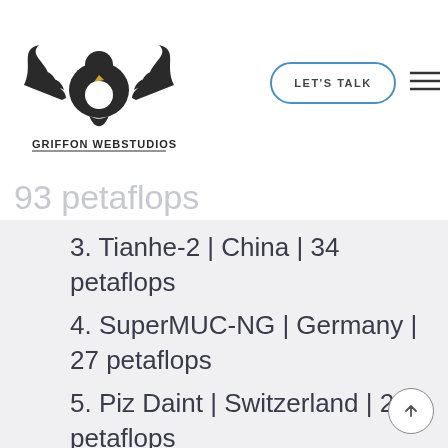[Figure (logo): Griffon Webstudios logo with eagle/wings and text]
130 petaflops
by TaihuLight
93 petaflops
3. Tianhe-2 | China | 34 petaflops
4. SuperMUC-NG | Germany | 27 petaflops
5. Piz Daint | Switzerland | 20 petaflops
6. Gyoukou | Japan | 19 petaflops
7. Titan | United States | 18 petaflops